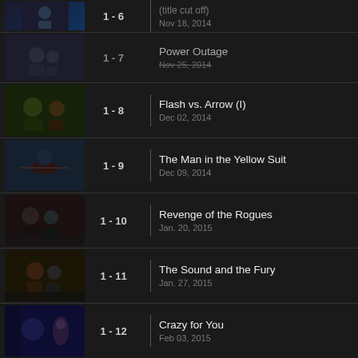1 - 6 | (title cut off) | Nov 18, 2014
1 - 7 | Power Outage | Nov 25, 2014
1 - 8 | Flash vs. Arrow (I) | Dec 02, 2014
1 - 9 | The Man in the Yellow Suit | Dec 09, 2014
1 - 10 | Revenge of the Rogues | Jan. 20, 2015
1 - 11 | The Sound and the Fury | Jan. 27, 2015
1 - 12 | Crazy for You | Feb 03, 2015